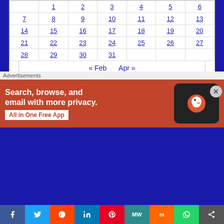|  |  |  |  |  |  |  |
| --- | --- | --- | --- | --- | --- | --- |
|  | 1 | 2 | 3 | 4 | 5 | 6 |
| 7 | 8 | 9 | 10 | 11 | 12 | 13 |
| 14 | 15 | 16 | 17 | 18 | 19 | 20 |
| 21 | 22 | 23 | 24 | 25 | 26 | 27 |
| 28 | 29 | 30 | 31 |  |  |  |
« Feb   Apr »
August 2022
July 2022
June 2022
[Figure (screenshot): DuckDuckGo ad banner: Search, browse, and email with more privacy. All in One Free App]
Facebook Twitter Reddit LinkedIn Pinterest MeWe Mix WhatsApp Share